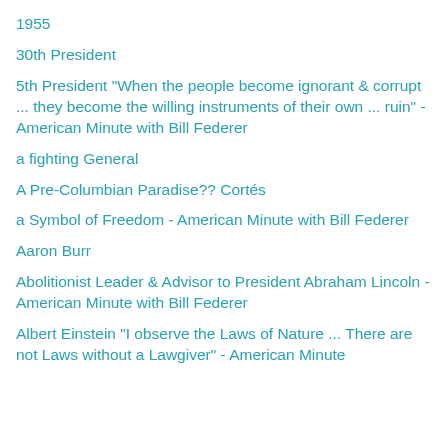1955
30th President
5th President "When the people become ignorant & corrupt ... they become the willing instruments of their own ... ruin" - American Minute with Bill Federer
a fighting General
A Pre-Columbian Paradise?? Cortés
a Symbol of Freedom - American Minute with Bill Federer
Aaron Burr
Abolitionist Leader & Advisor to President Abraham Lincoln - American Minute with Bill Federer
Albert Einstein "I observe the Laws of Nature ... There are not Laws without a Lawgiver" - American Minute